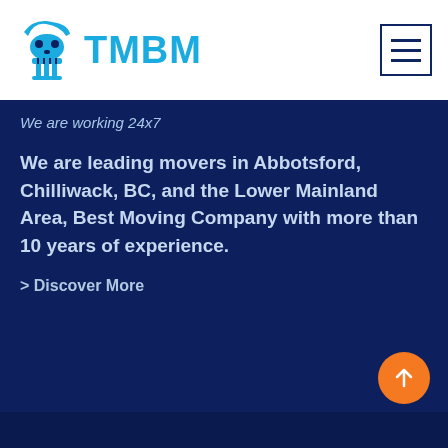[Figure (logo): TMBM logo with blue skull/piano icon and bold cyan TMBM text]
[Figure (other): Hamburger menu icon — three horizontal lines inside a square border]
We are working 24x7
We are leading movers in Abbotsford, Chilliwack, BC, and the Lower Mainland Area, Best Moving Company with more than 10 years of experience.
> Discover More